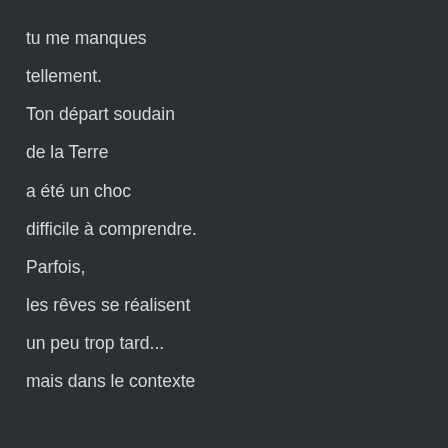tu me manques
tellement.
Ton départ soudain
de la Terre
a été un choc
difficile à comprendre.
Parfois,
les rêves se réalisent
un peu trop tard...
mais dans le contexte